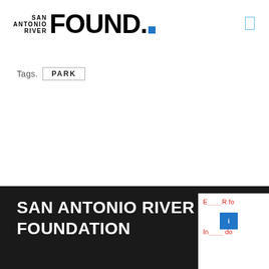[Figure (logo): San Antonio River Foundation logo with 'SAN ANTONIO RIVER' stacked text and large bold 'FOUND.' text with a blue square dot]
Tags.  PARK
SAN ANTONIO RIVER FOUNDATION
[Figure (screenshot): Partial popup card with red text beginning 'E...R fo...' and 'In...do...' with blue icon box in center]